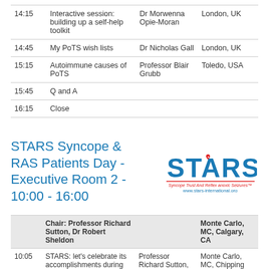| Time | Session | Speaker | Location |
| --- | --- | --- | --- |
| 14:15 | Interactive session: building up a self-help toolkit | Dr Morwenna Opie-Moran | London, UK |
| 14:45 | My PoTS wish lists | Dr Nicholas Gall | London, UK |
| 15:15 | Autoimmune causes of PoTS | Professor Blair Grubb | Toledo, USA |
| 15:45 | Q and A |  |  |
| 16:15 | Close |  |  |
STARS Syncope & RAS Patients Day - Executive Room 2 - 10:00 - 16:00
[Figure (logo): STARS logo with star icon, tagline 'Syncope Trust And Reflex anoxic Seizures' and website www.stars-international.org]
|  | Session | Speaker | Location |
| --- | --- | --- | --- |
|  | Chair: Professor Richard Sutton, Dr Robert Sheldon |  | Monte Carlo, MC, Calgary, CA |
| 10:05 | STARS: let's celebrate its accomplishments during the last 25 years | Professor Richard Sutton, Mrs Trudie Lobban MBE | Monte Carlo, MC, Chipping Norton, UK |